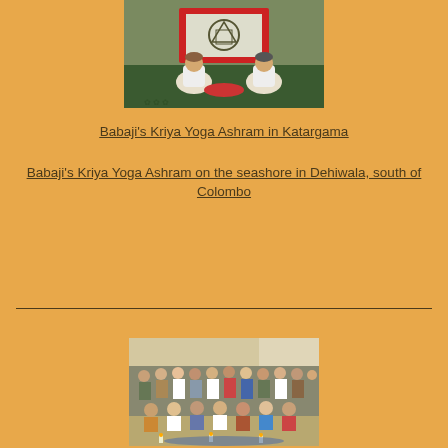[Figure (photo): Two people in white clothing seated on a green mat facing a shrine/altar with a decorative cloth banner featuring a circular symbol]
Babaji's Kriya Yoga Ashram in Katargama
Babaji's Kriya Yoga Ashram on the seashore in Dehiwala, south of Colombo
[Figure (photo): Large group of people gathered together indoors, group photo]